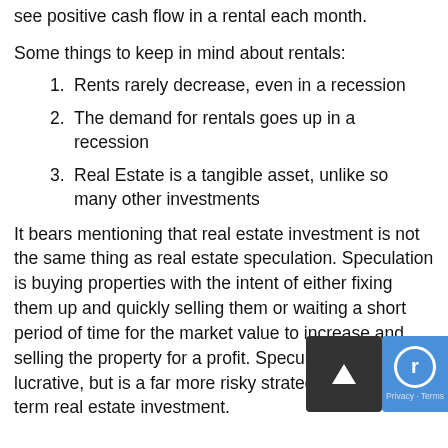see positive cash flow in a rental each month.
Some things to keep in mind about rentals:
Rents rarely decrease, even in a recession
The demand for rentals goes up in a recession
Real Estate is a tangible asset, unlike so many other investments
It bears mentioning that real estate investment is not the same thing as real estate speculation. Speculation is buying properties with the intent of either fixing them up and quickly selling them or waiting a short period of time for the market value to increase and selling the property for a profit. Speculation can be lucrative, but is a far more risky strategy than long-term real estate investment.